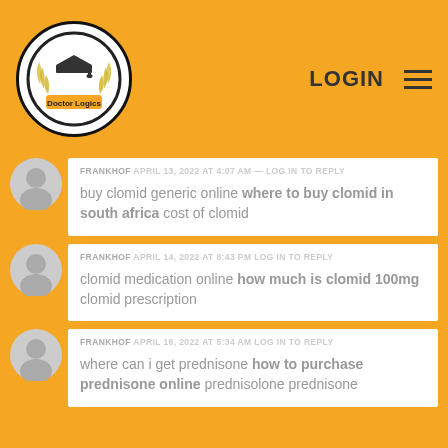Doctor Logics — LOGIN
buy clomid generic online where to buy clomid in south africa cost of clomid
FRANKHOF APRIL 14, 2022 AT 8:43 PM LOG IN TO REPLY
clomid medication online how much is clomid 100mg clomid prescription
FRANKHOF APRIL 16, 2022 AT 5:34 AM LOG IN TO REPLY
where can i get prednisone how to purchase prednisone online prednisolone prednisone